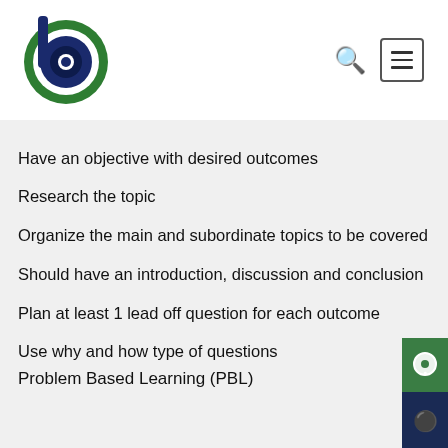[Figure (logo): Circular logo with green outer ring and dark navy inner circle with a 'b' letterform]
Have an objective with desired outcomes
Research the topic
Organize the main and subordinate topics to be covered
Should have an introduction, discussion and conclusion
Plan at least 1 lead off question for each outcome
Use why and how type of questions
Problem Based Learning (PBL)